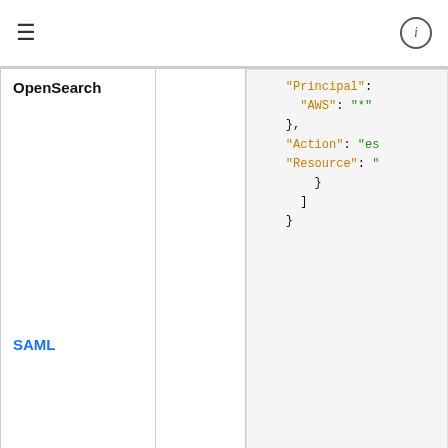≡  ⓘ
| Service | Auth | Code/Policy |
| --- | --- | --- |
| OpenSearch
SAML |  | "Principal":
  "AWS": "*"
},
"Action": "es
"Resource": "
}
]
} |
| IAM
OpenSearch
API
Amazon | IAM | {
  "Version": "2012-
  "Statement": [ |